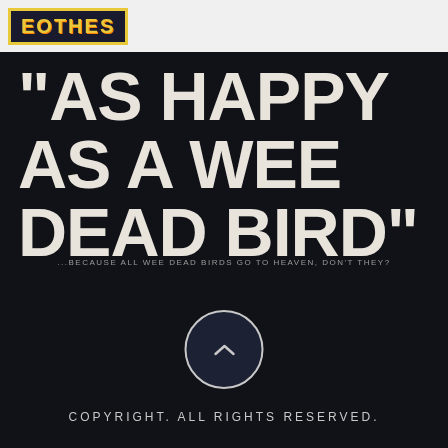[Figure (logo): Logo with yellow text on dark background with yellow border]
"AS HAPPY AS A WEE DEAD BIRD"
...BECAUSE ALL WEE DEAD BIRDS GO TO HEAVEN, DON'T THEY?
[Figure (other): Dark circle button with upward chevron arrow]
COPYRIGHT. ALL RIGHTS RESERVED.